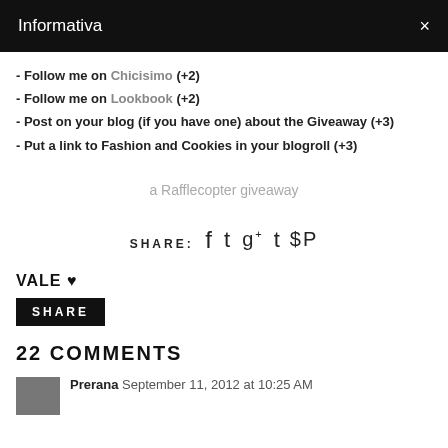Informativa ×
- Follow me on Chicisimo (+2)
- Follow me on Lookbook (+2)
- Post on your blog (if you have one) about the Giveaway (+3)
- Put a link to Fashion and Cookies in your blogroll (+3)
a Rafflecopter giveaway
SHARE: f t g+ t p
VALE ♥
SHARE
22 COMMENTS
Prerana  September 11, 2012 at 10:25 AM